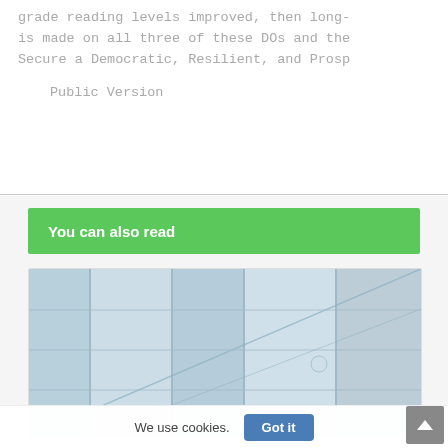grade reading levels improved, then long-
is made on all three of these DOs and the
Secure a Democratic, Resilient, and Prosp
Public Version
You can also read
[Figure (photo): Photograph of a building with glass facade and diagonal structural lines, rendered in light blue tones.]
We use cookies.
Got it